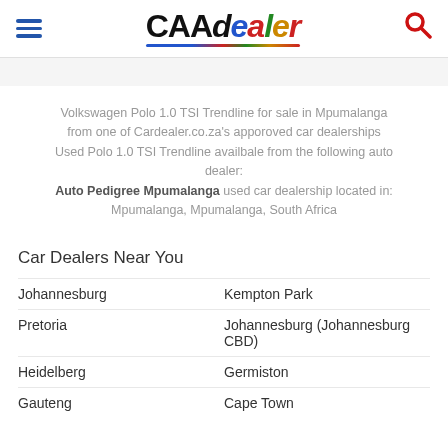CAAdealer
Volkswagen Polo 1.0 TSI Trendline for sale in Mpumalanga from one of Cardealer.co.za's apporoved car dealerships Used Polo 1.0 TSI Trendline availbale from the following auto dealer: Auto Pedigree Mpumalanga used car dealership located in: Mpumalanga, Mpumalanga, South Africa
Car Dealers Near You
Johannesburg
Kempton Park
Pretoria
Johannesburg (Johannesburg CBD)
Heidelberg
Germiston
Gauteng
Cape Town